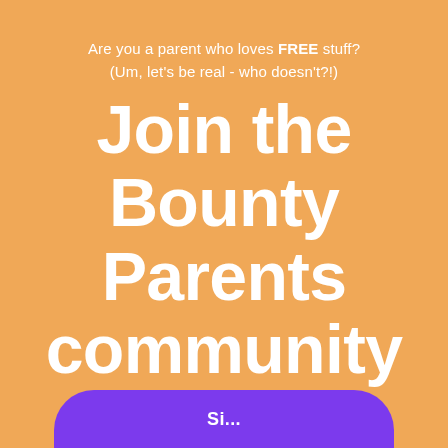Are you a parent who loves FREE stuff?
(Um, let's be real - who doesn't?!)
Join the Bounty Parents community and be rewarded!
[Figure (other): Purple rounded button at the bottom of the page, partially visible, with white text]